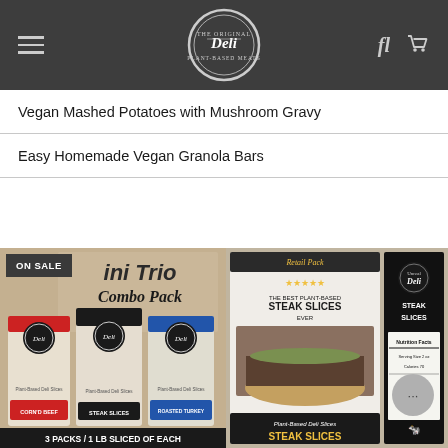Unreal Deli — site header with hamburger menu, logo, search and cart icons
Vegan Mashed Potatoes with Mushroom Gravy
Easy Homemade Vegan Granola Bars
[Figure (photo): Product photo: Mini Trio Combo Pack — three Unreal Deli Plant-Based Deli Slices packages (Corn'd Beef, Steak Slices, Roasted Turkey), 3 Packs / 1 LB Sliced of Each, with ON SALE banner]
[Figure (photo): Product photo: Unreal Deli Steak Slices Retail Pack — Plant-Based Deli Slices with sandwich photo, 15oz, Retail Pack label, plus tall narrow package showing nutrition facts]